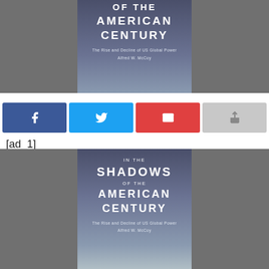[Figure (photo): Top portion of book cover for 'In the Shadows of the American Century: The Rise and Decline of US Global Power' by Alfred W. McCoy, showing partial title text on a dark blue-gray gradient book cover against a dark stone/concrete background.]
[Figure (infographic): Social sharing buttons: Facebook (blue), Twitter (light blue), Email (red), Share (gray)]
[ad_1]
[Figure (photo): Full book cover for 'In the Shadows of the American Century: The Rise and Decline of US Global Power' by Alfred W. McCoy, showing the full title and author on a dark blue-gray gradient book cover against a dark stone/concrete background.]